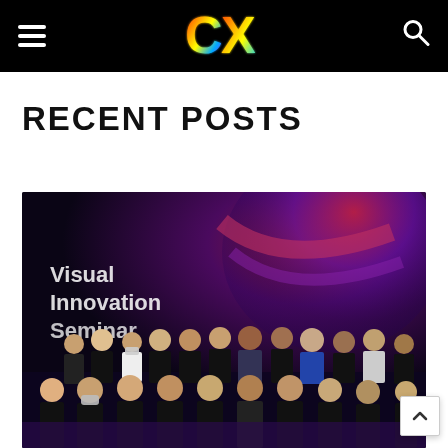CX — navigation header with hamburger menu, CX logo, and search icon
RECENT POSTS
[Figure (photo): Group photo of approximately 20 people standing in front of a large display screen showing 'Visual Innovation Seminar' text with colorful abstract background in red/purple tones]